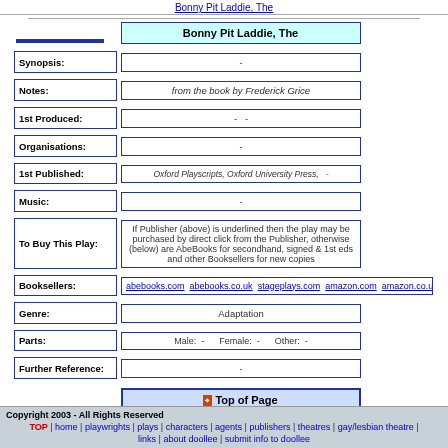Bonny Pit Laddie, The
| Field | Value |
| --- | --- |
|  | Bonny Pit Laddie, The |
| Synopsis: | - |
| Notes: | from the book by Frederick Grice |
| 1st Produced: | - - |
| Organisations: | - |
| 1st Published: | Oxford Playscripts, Oxford University Press, - |
| Music: | - |
| To Buy This Play: | If Publisher (above) is underlined then the play may be purchased by direct click from the Publisher, otherwise (below) are AbeBooks for secondhand, signed & 1st eds and other Booksellers for new copies |
| Booksellers: | abebooks.com abebooks.co.uk stageplays.com amazon.com amazon.co.uk am... |
| Genre: | Adaptation |
| Parts: | Male: - Female: - Other: - |
| Further Reference: | - |
Top of Page
Copyright 2003 - All Rights Reserved | TOP | home | playwrights | plays | characters | agents | publishers | theatres | gay/lesbian theatre | links | about doollee | submit info to doollee